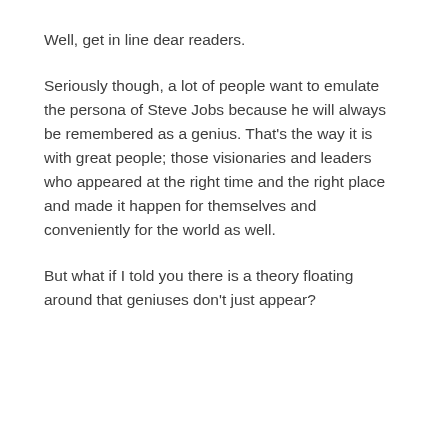Well, get in line dear readers.
Seriously though, a lot of people want to emulate the persona of Steve Jobs because he will always be remembered as a genius. That’s the way it is with great people; those visionaries and leaders who appeared at the right time and the right place and made it happen for themselves and conveniently for the world as well.
But what if I told you there is a theory floating around that geniuses don’t just appear?